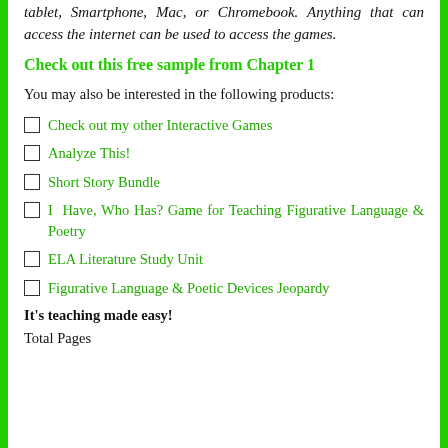tablet, Smartphone, Mac, or Chromebook. Anything that can access the internet can be used to access the games.
Check out this free sample from Chapter 1
You may also be interested in the following products:
Check out my other Interactive Games
Analyze This!
Short Story Bundle
I Have, Who Has? Game for Teaching Figurative Language & Poetry
ELA Literature Study Unit
Figurative Language & Poetic Devices Jeopardy
It's teaching made easy!
Total Pages